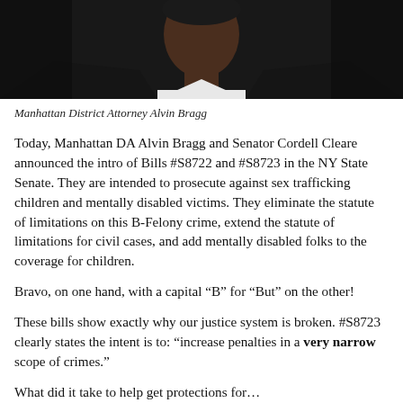[Figure (photo): Photo of Manhattan District Attorney Alvin Bragg, a Black man wearing a dark suit jacket and white dress shirt, photographed from chest up against a dark background.]
Manhattan District Attorney Alvin Bragg
Today, Manhattan DA Alvin Bragg and Senator Cordell Cleare announced the intro of Bills #S8722 and #S8723 in the NY State Senate. They are intended to prosecute against sex trafficking children and mentally disabled victims. They eliminate the statute of limitations on this B-Felony crime, extend the statute of limitations for civil cases, and add mentally disabled folks to the coverage for children.
Bravo, on one hand, with a capital “B” for “But” on the other!
These bills show exactly why our justice system is broken. #S8723 clearly states the intent is to: “increase penalties in a very narrow scope of crimes.”
What did it take to get protections for...